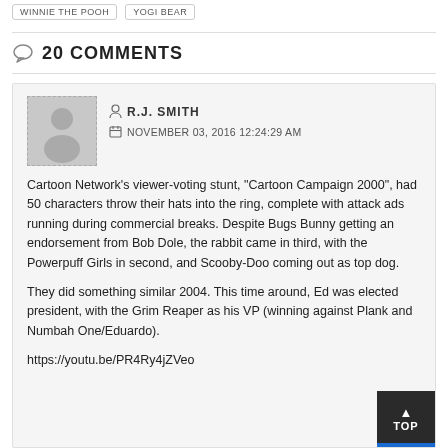WINNIE THE POOH
YOGI BEAR
20 Comments
R.J. SMITH
NOVEMBER 03, 2016 12:24:29 AM

Cartoon Network’s viewer-voting stunt, “Cartoon Campaign 2000”, had 50 characters throw their hats into the ring, complete with attack ads running during commercial breaks. Despite Bugs Bunny getting an endorsement from Bob Dole, the rabbit came in third, with the Powerpuff Girls in second, and Scooby-Doo coming out as top dog.

They did something similar 2004. This time around, Ed was elected president, with the Grim Reaper as his VP (winning against Plank and Numbah One/Eduardo).

https://youtu.be/PR4Ry4jZVeo